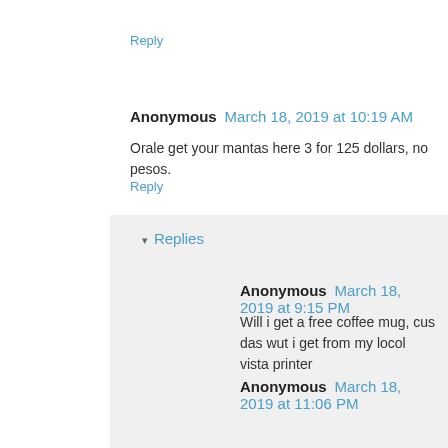Reply
Anonymous  March 18, 2019 at 10:19 AM
Orale get your mantas here 3 for 125 dollars, no pesos.
Reply
Replies
Anonymous  March 18, 2019 at 9:15 PM
Will i get a free coffee mug, cus das wut i get from my locol vista printer
Anonymous  March 18, 2019 at 11:06 PM
That's a good deal. I like them with professional print. These look cheap.
Anonymous  March 19, 2019 at 12:24 AM